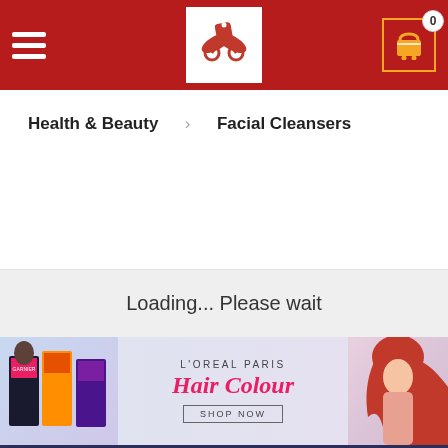Navigation header with hamburger menu, logo, and cart (0 items)
Health & Beauty   Facial Cleansers
Loading... Please wait
[Figure (illustration): L'OREAL PARIS Hair Colour advertisement banner with hair colour product boxes on the left, cursive 'Hair Colour' text in pink in the center with 'SHOP NOW' button, and a woman with pink/red hair on the right]
Client Area
Merchant/Supplier Registration
Sales Partner Registration
Login As Merchant/Supplier
Login As Sales Partner